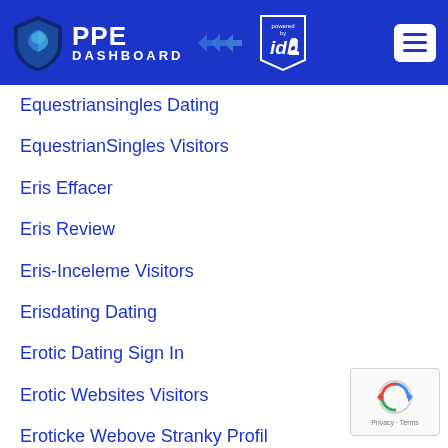PPE DASHBOARD powered by idh
Equestriansingles Dating
EquestrianSingles Visitors
Eris Effacer
Eris Review
Eris-Inceleme Visitors
Erisdating Dating
Erotic Dating Sign In
Erotic Websites Visitors
Eroticke Webove Stranky Profil